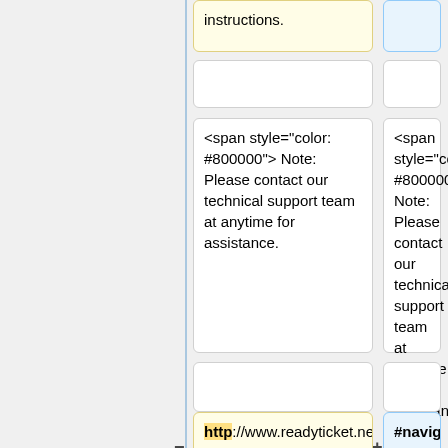instructions.
<span style="color: #800000"> Note: Please contact our technical support team at anytime for assistance.
<span style="color: #800000"> Note: Please contact our technical support team at anytime for assistance.
http://www.readyticket.net/download/net/setup.exe
#navigate to: https://www.readyticket.net/download/net/setup.exe
#The RTS stub installer will now begin to